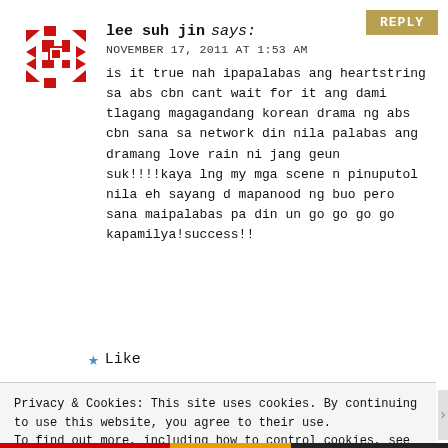REPLY
[Figure (logo): Red geometric avatar icon with cross/star pattern]
lee suh jin says:
NOVEMBER 17, 2011 AT 1:53 AM
is it true nah ipapalabas ang heartstring sa abs cbn cant wait for it ang dami tlagang magagandang korean drama ng abs cbn sana sa network din nila palabas ang dramang love rain ni jang geun suk!!!!kaya lng my mga scene n pinuputol nila eh sayang d mapanood ng buo pero sana maipalabas pa din un go go go go kapamilya!success!!
Like
Privacy & Cookies: This site uses cookies. By continuing to use this website, you agree to their use.
To find out more, including how to control cookies, see here: Cookie Policy
Close and accept